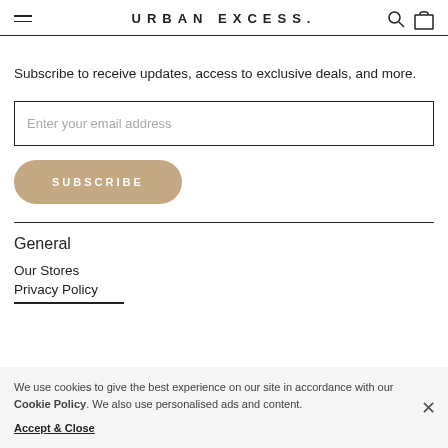URBAN EXCESS.
Subscribe to receive updates, access to exclusive deals, and more.
Enter your email address
SUBSCRIBE
General
Our Stores
Privacy Policy
We use cookies to give the best experience on our site in accordance with our Cookie Policy. We also use personalised ads and content.
Accept & Close